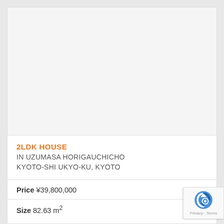[Figure (photo): Property photo area — blank/white placeholder image for a house listing]
2LDK HOUSE
IN UZUMASA HORIGAUCHICHO
KYOTO-SHI UKYO-KU, KYOTO
Price ¥39,800,000
Size 82.63 m²